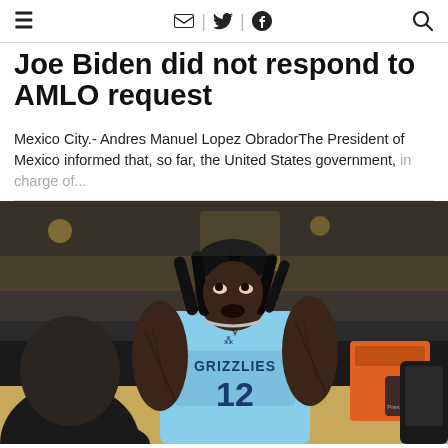≡  🔷 | 🐦 | 📌  🔍
Joe Biden did not respond to AMLO request
Mexico City.- Andres Manuel Lopez ObradorThe President of Mexico informed that, so far, the United States government, in charge of...
[Figure (photo): Basketball player wearing Memphis Grizzlies light blue jersey number 12, looking upward with mouth open, surrounded by people on the sideline. NBA branding visible.]